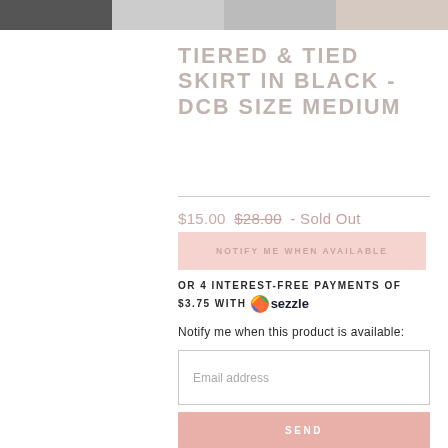[Figure (photo): Thumbnail strip of 4 product images at the top of the page]
TIERED & TIED SKIRT IN BLACK - DCB SIZE MEDIUM
$15.00 $28.00 - Sold Out
NOTIFY ME WHEN AVAILABLE
OR 4 INTEREST-FREE PAYMENTS OF $3.75 WITH sezzle
Notify me when this product is available:
Email address
SEND